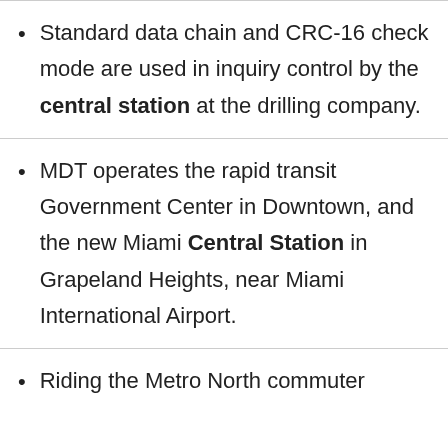Standard data chain and CRC-16 check mode are used in inquiry control by the central station at the drilling company.
MDT operates the rapid transit Government Center in Downtown, and the new Miami Central Station in Grapeland Heights, near Miami International Airport.
Riding the Metro North commuter